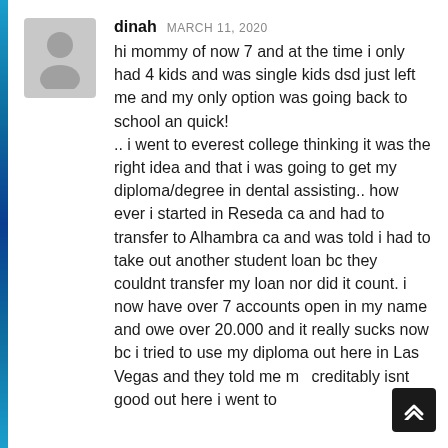dinah MARCH 11, 2020
hi mommy of now 7 and at the time i only had 4 kids and was single kids dsd just left me and my only option was going back to school an quick!
.. i went to everest college thinking it was the right idea and that i was going to get my diploma/degree in dental assisting.. how ever i started in Reseda ca and had to transfer to Alhambra ca and was told i had to take out another student loan bc they couldnt transfer my loan nor did it count. i now have over 7 accounts open in my name and owe over 20.000 and it really sucks now bc i tried to use my diploma out here in Las Vegas and they told me my creditably isnt good out here i went to